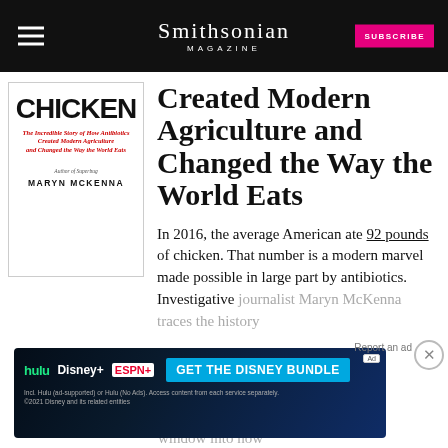Smithsonian MAGAZINE
[Figure (photo): Book cover of 'Big Chicken: The Incredible Story of How Antibiotics Created Modern Agriculture and Changed the Way the World Eats' by Maryn McKenna]
Created Modern Agriculture and Changed the Way the World Eats
In 2016, the average American ate 92 pounds of chicken. That number is a modern marvel made possible in large part by antibiotics. Investigative journalist Maryn McKenna traces the history... window into how
[Figure (screenshot): Advertisement banner for Disney Bundle featuring Hulu, Disney+, and ESPN+ with CTA 'GET THE DISNEY BUNDLE']